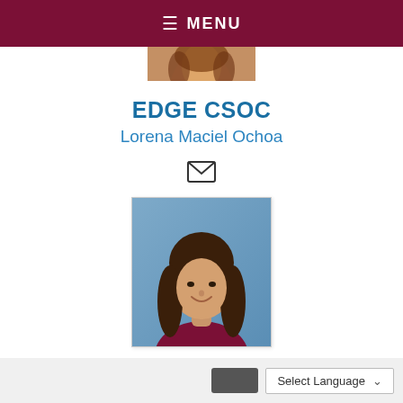≡ MENU
[Figure (photo): Partial top edge of a person's photo (cropped, only top portion visible)]
EDGE CSOC
Lorena Maciel Ochoa
[Figure (illustration): Email envelope icon]
[Figure (photo): Portrait photo of Lorena Maciel Ochoa, a woman with long dark brown hair, smiling, blue background, wearing a dark maroon top]
Select Language